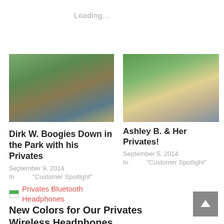Loading...
[Figure (photo): Close-up photo of a man (Dirk W.) wearing headphones outdoors]
Dirk W. Boogies Down in the Park with his Privates
September 9, 2014
In "Customer Spotlight"
[Figure (photo): Outdoor photo of a woman (Ashley B.) with long blonde hair]
Ashley B. & Her Privates!
September 5, 2014
In "Customer Spotlight"
Privates Bluetooth Headphones
New Colors for Our Privates Wireless Headphones